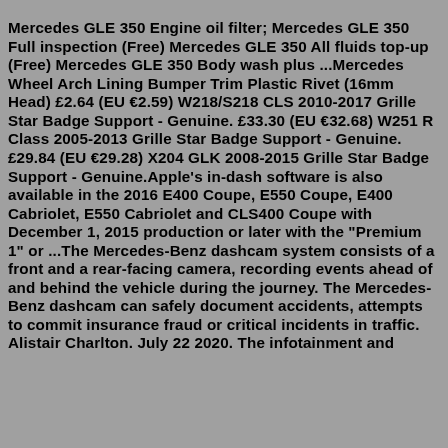Mercedes GLE 350 Engine oil filter; Mercedes GLE 350 Full inspection (Free) Mercedes GLE 350 All fluids top-up (Free) Mercedes GLE 350 Body wash plus ...Mercedes Wheel Arch Lining Bumper Trim Plastic Rivet (16mm Head) £2.64 (EU €2.59) W218/S218 CLS 2010-2017 Grille Star Badge Support - Genuine. £33.30 (EU €32.68) W251 R Class 2005-2013 Grille Star Badge Support - Genuine. £29.84 (EU €29.28) X204 GLK 2008-2015 Grille Star Badge Support - Genuine.Apple's in-dash software is also available in the 2016 E400 Coupe, E550 Coupe, E400 Cabriolet, E550 Cabriolet and CLS400 Coupe with December 1, 2015 production or later with the "Premium 1" or ...The Mercedes-Benz dashcam system consists of a front and a rear-facing camera, recording events ahead of and behind the vehicle during the journey. The Mercedes-Benz dashcam can safely document accidents, attempts to commit insurance fraud or critical incidents in traffic. Alistair Charlton. July 22 2020. The infotainment and